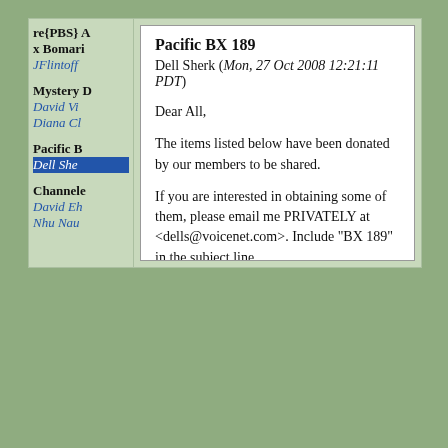re{PBS} A x Bomari JFlintoff
Mystery D David Vi Diana Cl
Pacific B Dell She
Channele David Eh Nhu Nau
Pacific BX 189
Dell Sherk (Mon, 27 Oct 2008 12:21:11 PDT)
Dear All,
The items listed below have been donated by our members to be shared.
If you are interested in obtaining some of them, please email me PRIVATELY at <dells@voicenet.com>. Include "BX 189" in the subject line.